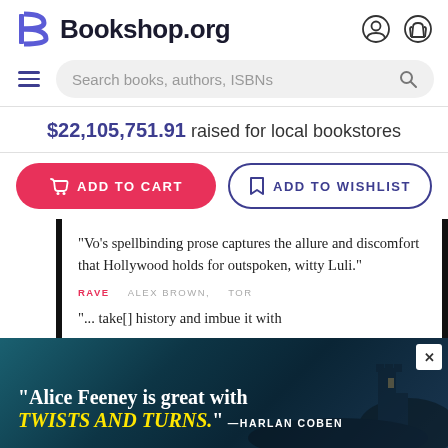Bookshop.org
Search books, authors, ISBNs
$22,105,751.91 raised for local bookstores
ADD TO CART
ADD TO WISHLIST
“Vo’s spellbinding prose captures the allure and discomfort that Hollywood holds for outspoken, witty Luli.”
RAVE   ALEX BROWN,   TOR
“... take[] history and imbue it with
[Figure (screenshot): Ad banner with dark ocean/castle background: “Alice Feeney is great with TWISTS AND TURNS.” —HARLAN COBEN]